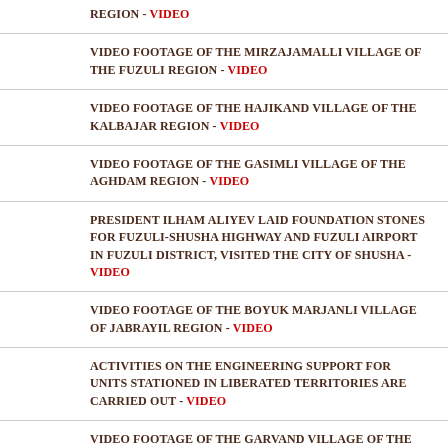REGION - VIDEO
VIDEO FOOTAGE OF THE MIRZAJAMALLI VILLAGE OF THE FUZULI REGION - VIDEO
VIDEO FOOTAGE OF THE HAJIKAND VILLAGE OF THE KALBAJAR REGION - VIDEO
VIDEO FOOTAGE OF THE GASIMLI VILLAGE OF THE AGHDAM REGION - VIDEO
PRESIDENT ILHAM ALIYEV LAID FOUNDATION STONES FOR FUZULI-SHUSHA HIGHWAY AND FUZULI AIRPORT IN FUZULI DISTRICT, VISITED THE CITY OF SHUSHA - VIDEO
VIDEO FOOTAGE OF THE BOYUK MARJANLI VILLAGE OF JABRAYIL REGION - VIDEO
ACTIVITIES ON THE ENGINEERING SUPPORT FOR UNITS STATIONED IN LIBERATED TERRITORIES ARE CARRIED OUT - VIDEO
VIDEO FOOTAGE OF THE GARVAND VILLAGE OF THE FUZULI REGION - VIDEO